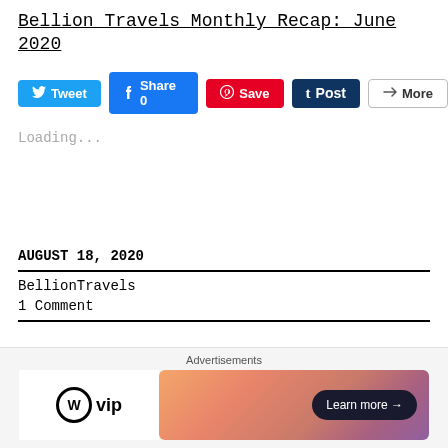Bellion Travels Monthly Recap: June 2020
[Figure (screenshot): Social sharing buttons: Tweet (Twitter/blue), Share 0 (Facebook/blue), Save (Pinterest/red), Post (Tumblr/dark navy), More (grey outline)]
Loading...
AUGUST 18, 2020
BellionTravels
1 Comment
[Figure (infographic): Advertisements bar at bottom with WordPress VIP logo on left and a gradient orange-pink-purple banner ad with 'Learn more →' button on right]